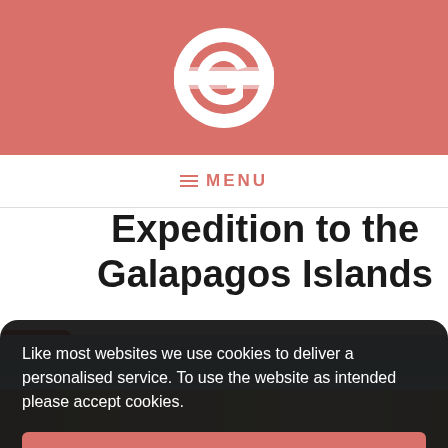Galapagos expedition website header with logo
≡ MENU
Expedition to the Galapagos Islands
[Figure (photo): Beach scene at Galapagos Islands with sand, ocean and sky partially visible]
Like most websites we use cookies to deliver a personalised service. To use the website as intended please accept cookies.
Accept Cookies